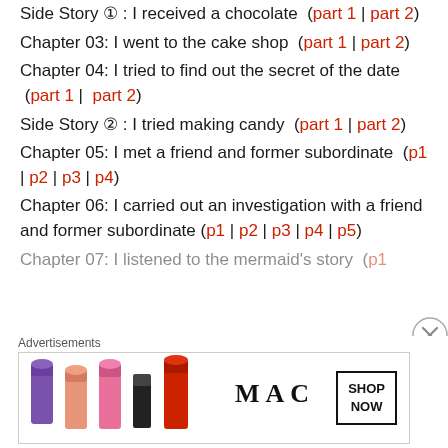Side Story ① : I received a chocolate (part 1 | part 2)
Chapter 03: I went to the cake shop (part 1 | part 2)
Chapter 04: I tried to find out the secret of the date (part 1 | part 2)
Side Story ② : I tried making candy (part 1 | part 2)
Chapter 05: I met a friend and former subordinate (p1 | p2 | p3 | p4)
Chapter 06: I carried out an investigation with a friend and former subordinate (p1 | p2 | p3 | p4 | p5)
Chapter 07: I listened to the mermaid's story (p1
Advertisements
[Figure (other): MAC cosmetics advertisement showing lipsticks in purple, peach, pink, and red colors with MAC logo and SHOP NOW button]